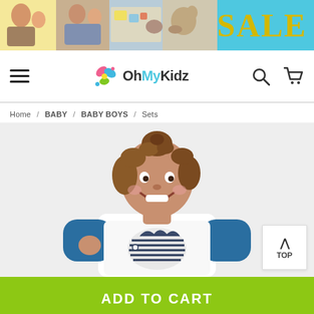[Figure (photo): Sale banner with children photos on yellow and teal background with SALE text in gold]
OhMyKidz navigation bar with hamburger menu, logo, search and cart icons
Home / BABY / BABY BOYS / Sets
[Figure (photo): Toddler baby boy smiling wearing a white and blue striped top with hedgehog graphic, light grey background]
ADD TO CART